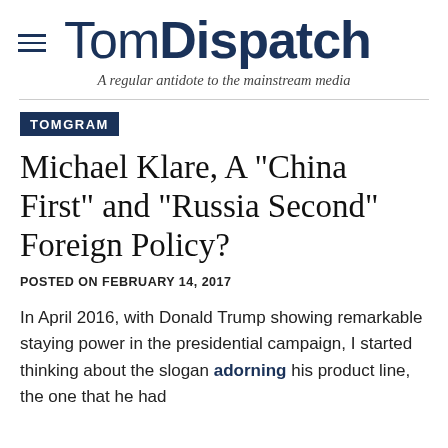TomDispatch — A regular antidote to the mainstream media
TOMGRAM
Michael Klare, A "China First" and "Russia Second" Foreign Policy?
POSTED ON FEBRUARY 14, 2017
In April 2016, with Donald Trump showing remarkable staying power in the presidential campaign, I started thinking about the slogan adorning his product line, the one that he had